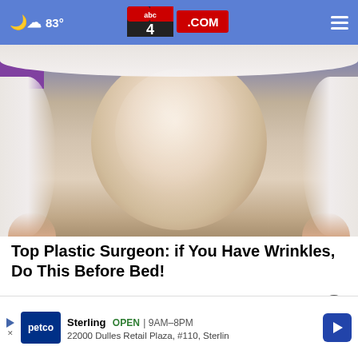☁ 83° | abc4.com
[Figure (photo): Woman lying down receiving a facial treatment, face covered in a clear gel/mask, wrapped in white towels]
Top Plastic Surgeon: if You Have Wrinkles, Do This Before Bed!
Extremely Effective Anti-aging
Sterling OPEN | 9AM-8PM 22000 Dulles Retail Plaza, #110, Sterling (Petco advertisement)